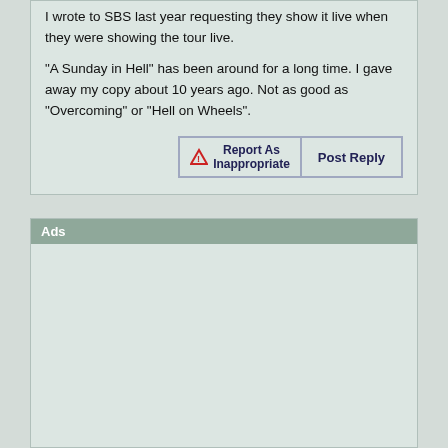I wrote to SBS last year requesting they show it live when they were showing the tour live.
"A Sunday in Hell" has been around for a long time. I gave away my copy about 10 years ago. Not as good as "Overcoming" or "Hell on Wheels".
Report As Inappropriate | Post Reply
Ads